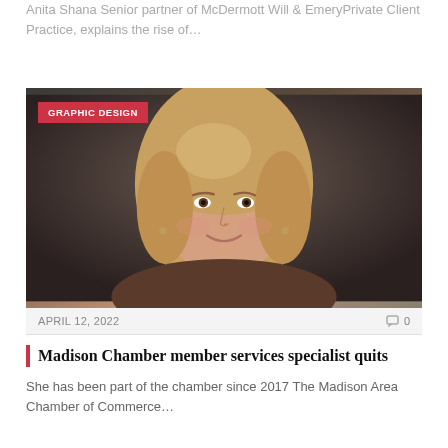Anita Shana Senior partner of McDermott Will & EmeryPrivate Client Practice, explains the rise of…
[Figure (photo): Headshot of a smiling blonde woman against a dark background, with a red 'GRAPHIC DESIGN' badge in the top left corner of the image.]
APRIL 12, 2022   0
Madison Chamber member services specialist quits
She has been part of the chamber since 2017 The Madison Area Chamber of Commerce…